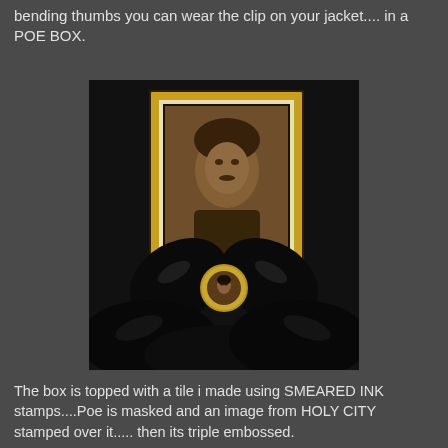bending thumbs you can wear the clip on your jacket.... in a POE BOX.
[Figure (photo): A decorative Poe box: a framed portrait of Edgar Allan Poe on top, with a large black satin bow in front featuring a small medallion/button with Poe's image, set against dark black fabric background.]
The box is topped with a tile i made using SMEARED INK stamps....Poe is masked and an image from HOLY CITY stamped over it..... then its triple embossed.